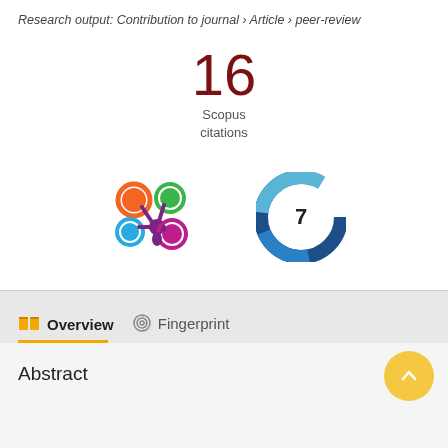Research output: Contribution to journal › Article › peer-review
16
Scopus
citations
[Figure (infographic): Altmetric donut logo (colorful four-circle flower shape in purple, orange, green, blue, magenta) and a circular badge with number 7 (blue and teal ring around white center with '7')]
Overview   Fingerprint
Abstract